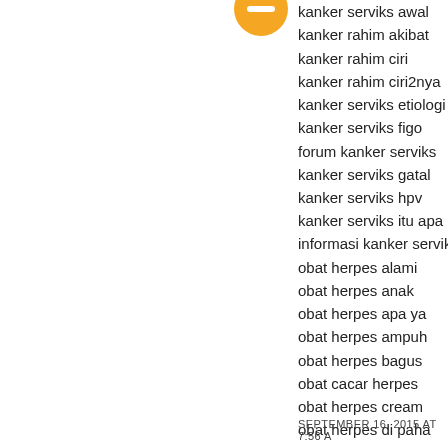[Figure (logo): Orange circular avatar/profile icon with a minus symbol inside]
kanker serviks awal
kanker rahim akibat
kanker rahim ciri
kanker rahim ciri2nya
kanker serviks etiologi
kanker serviks figo
forum kanker serviks
kanker serviks gatal
kanker serviks hpv
kanker serviks itu apa
informasi kanker serviks
obat herpes alami
obat herpes anak
obat herpes apa ya
obat herpes ampuh
obat herpes bagus
obat cacar herpes
obat herpes cream
obat herpes di paha
obat herpes genetal
obat herpes genitalia
obat herpes ibu hamil
tanaman obat herbal herpes
SEPTEMBER 16, 2015 AT 7:56 A